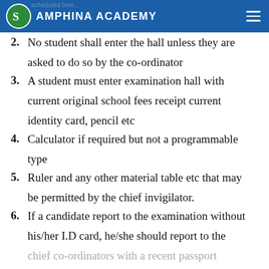SAMPHINA ACADEMY
2. No student shall enter the hall unless they are asked to do so by the co-ordinator
3. A student must enter examination hall with current original school fees receipt current identity card, pencil etc
4. Calculator if required but not a programmable type
5. Ruler and any other material table etc that may be permitted by the chief invigilator.
6. If a candidate report to the examination without his/her I.D card, he/she should report to the chief co-ordinators with a recent passport